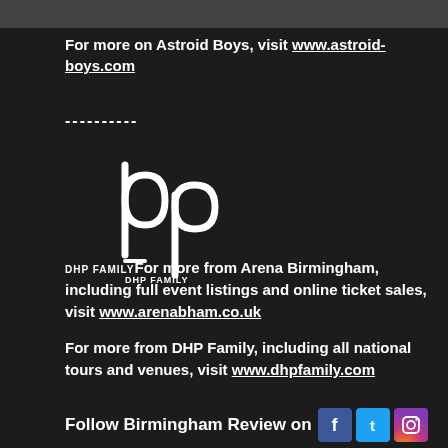[Figure (photo): Partial image strip at top of page showing band members]
For more on Astroid Boys, visit www.astroid-boys.com
----------
[Figure (logo): DHP Family logo — stylized white 'dp' symbol with 'DHP FAMILY' text below]
DHP FAMILYFor more from Arena Birmingham, including full event listings and online ticket sales, visit www.arenabham.co.uk
For more from DHP Family, including all national tours and venues, visit www.dhpfamily.com
Follow Birmingham Review on